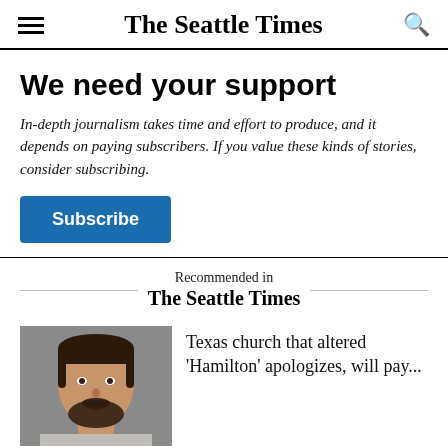The Seattle Times
We need your support
In-depth journalism takes time and effort to produce, and it depends on paying subscribers. If you value these kinds of stories, consider subscribing.
Subscribe
Recommended in The Seattle Times
[Figure (photo): Headshot of a man with dark hair and beard, smiling, against a grey background]
Texas church that altered 'Hamilton' apologizes, will pay...